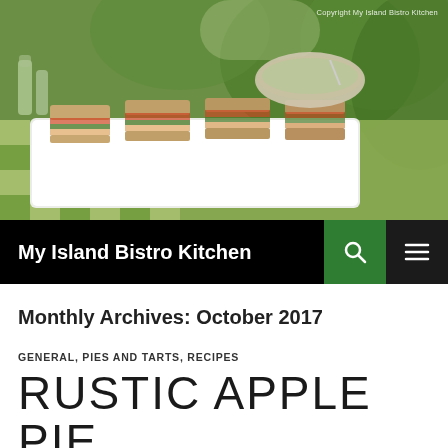[Figure (photo): Outdoor picnic scene with focaccia sandwiches cut into squares on a white rectangular platter, green checkered tablecloth, glass bottles, bowl of salad, trees in background]
Copyright My Island Bistro Kitchen
My Island Bistro Kitchen
Monthly Archives: October 2017
GENERAL, PIES AND TARTS, RECIPES
RUSTIC APPLE PIE